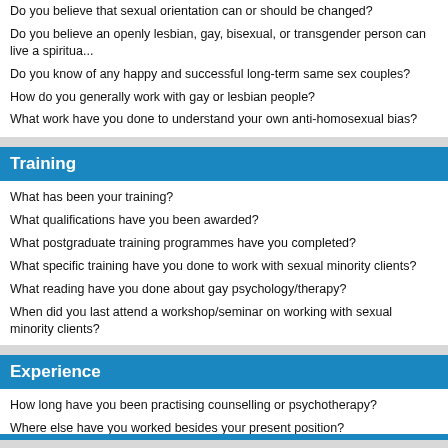Do you believe that sexual orientation can or should be changed?
Do you believe an openly lesbian, gay, bisexual, or transgender person can live a spiritua...
Do you know of any happy and successful long-term same sex couples?
How do you generally work with gay or lesbian people?
What work have you done to understand your own anti-homosexual bias?
Training
What has been your training?
What qualifications have you been awarded?
What postgraduate training programmes have you completed?
What specific training have you done to work with sexual minority clients?
What reading have you done about gay psychology/therapy?
When did you last attend a workshop/seminar on working with sexual minority clients?
Experience
How long have you been practising counselling or psychotherapy?
Where else have you worked besides your present position?
What jobs or careers have you had besides being a therapist?
What non-professional experiences have you had to qualify you for the work you are now...